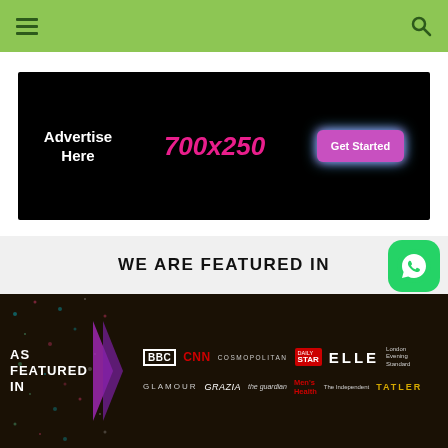[Figure (screenshot): Green navigation header bar with hamburger menu icon on left and search icon on right]
[Figure (infographic): Black advertisement banner reading 'Advertise Here 700x250 Get Started' with pink text and glowing purple button]
WE ARE FEATURED IN
[Figure (infographic): Dark 'As Featured In' banner showing logos: BBC, CNN, Cosmopolitan, Daily Star, Elle, Evening Standard (top row), Glamour, Grazia, The Guardian, Men's Health, The Independent, Tatler (bottom row) with purple chevron accent and colorful speckle background on left]
[Figure (logo): WhatsApp green rounded square icon]